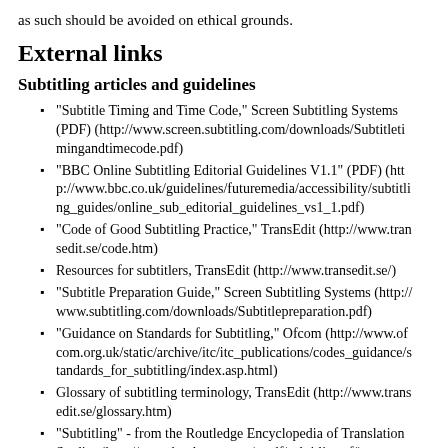as such should be avoided on ethical grounds.
External links
Subtitling articles and guidelines
"Subtitle Timing and Time Code," Screen Subtitling Systems (PDF) (http://www.screen.subtitling.com/downloads/Subtitleti mingandtimecode.pdf)
"BBC Online Subtitling Editorial Guidelines V1.1" (PDF) (htt p://www.bbc.co.uk/guidelines/futuremedia/accessibility/subtitli ng_guides/online_sub_editorial_guidelines_vs1_1.pdf)
"Code of Good Subtitling Practice," TransEdit (http://www.tran sedit.se/code.htm)
Resources for subtitlers, TransEdit (http://www.transedit.se/)
"Subtitle Preparation Guide," Screen Subtitling Systems (http:// www.subtitling.com/downloads/Subtitlepreparation.pdf)
"Guidance on Standards for Subtitling," Ofcom (http://www.of com.org.uk/static/archive/itc/itc_publications/codes_guidance/s tandards_for_subtitling/index.asp.html)
Glossary of subtitling terminology, TransEdit (http://www.trans edit.se/glossary.htm)
"Subtitling" - from the Routledge Encyclopedia of Translation Studies (http://www.bookrags.com/tandf/subtitling-tf/)